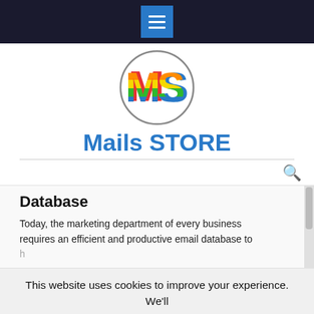Navigation bar with menu button
[Figure (logo): MS logo circle with colorful rainbow M and S letters inside a grey circle]
Mails STORE
Database
Today, the marketing department of every business requires an efficient and productive email database to
This website uses cookies to improve your experience. We'll assume you're ok with this, but you can opt-out if you wish.
Accept   Reject   Read More